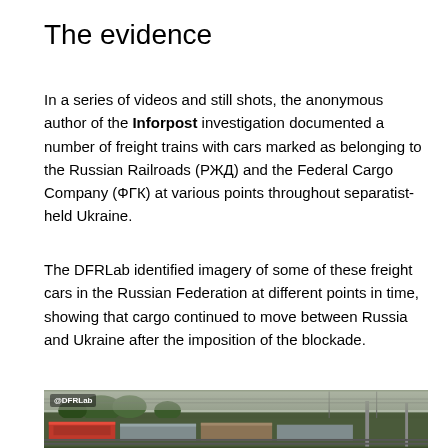The evidence
In a series of videos and still shots, the anonymous author of the Inforpost investigation documented a number of freight trains with cars marked as belonging to the Russian Railroads (РЖД) and the Federal Cargo Company (ФГК) at various points throughout separatist-held Ukraine.
The DFRLab identified imagery of some of these freight cars in the Russian Federation at different points in time, showing that cargo continued to move between Russia and Ukraine after the imposition of the blockade.
[Figure (photo): Photograph of freight train cars at a railway location, with a DFRLab watermark in the upper left corner. Trees and infrastructure visible in the background.]